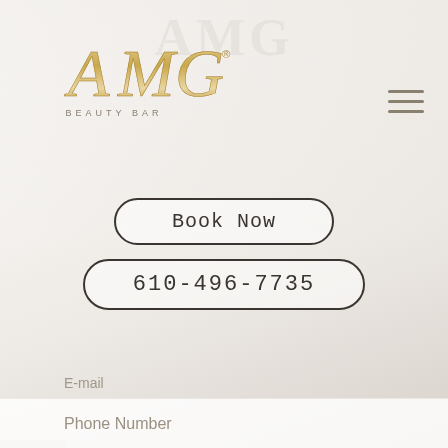[Figure (logo): AMG Beauty Bar logo in gold/champagne script lettering with 'BEAUTY BAR' in small caps beneath]
[Figure (other): Hamburger menu icon (three horizontal lines) in gray/tan color, top right area]
Book Now
610-496-7735
E-mail
Phone Number
Message